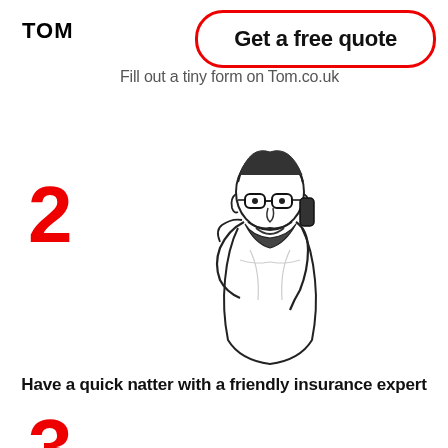TOM
Get a free quote
Fill out a tiny form on Tom.co.uk
2
[Figure (illustration): Line drawing illustration of a bearded man with glasses, one hand on his head and the other holding a phone to his ear, wearing a casual top.]
Have a quick natter with a friendly insurance expert
3